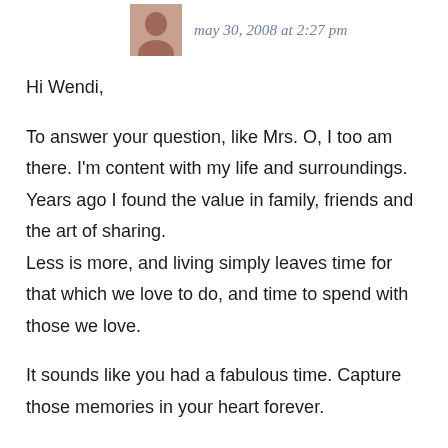may 30, 2008 at 2:27 pm
Hi Wendi,
To answer your question, like Mrs. O, I too am there. I'm content with my life and surroundings. Years ago I found the value in family, friends and the art of sharing.
Less is more, and living simply leaves time for that which we love to do, and time to spend with those we love.
It sounds like you had a fabulous time. Capture those memories in your heart forever.